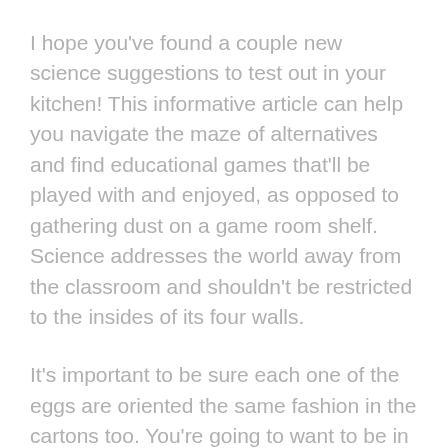I hope you've found a couple new science suggestions to test out in your kitchen! This informative article can help you navigate the maze of alternatives and find educational games that'll be played with and enjoyed, as opposed to gathering dust on a game room shelf. Science addresses the world away from the classroom and shouldn't be restricted to the insides of its four walls.
It's important to be sure each one of the eggs are oriented the same fashion in the cartons too. You're going to want to be in a position to position the tube directly over the mouth of the bottle so that every one of the candies drop in the bottle at the very same time.
A well-balanced diet comprises every one of these nutrients in some form. Proteins, lipids (for example...